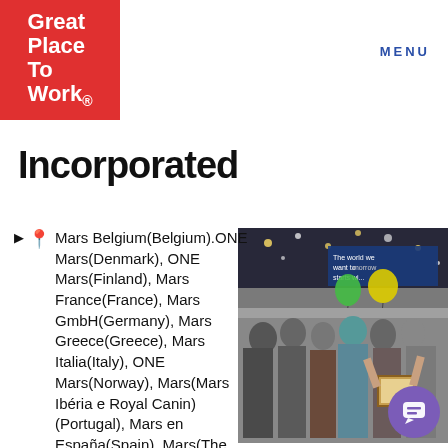Great Place To Work. | MENU
Incorporated
Mars Belgium(Belgium).ONE Mars(Denmark), ONE Mars(Finland), Mars France(France), Mars GmbH(Germany), Mars Greece(Greece), Mars Italia(Italy), ONE Mars(Norway), Mars(Mars Ibéria e Royal Canin)(Portugal), Mars en España(Spain), Mars(The Netherlands), Mars UK(UK)
[Figure (photo): Group photo of many employees celebrating indoors with confetti, balloons, and holding a framed award. A banner in the background reads 'The world we want tomorrow starts with...']